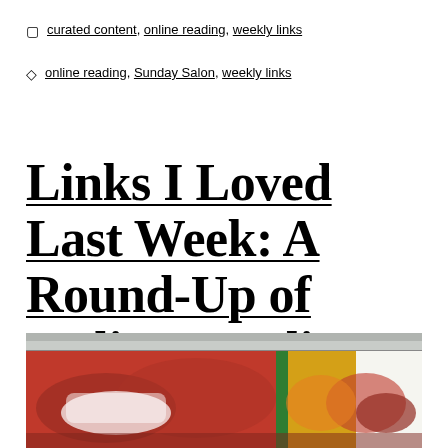curated content, online reading, weekly links
online reading, Sunday Salon, weekly links
Links I Loved Last Week: A Round-Up of Online Reading 5/15/16
[Figure (photo): Photograph of a graffiti-covered wall with bold red, yellow, green, and white street art lettering]